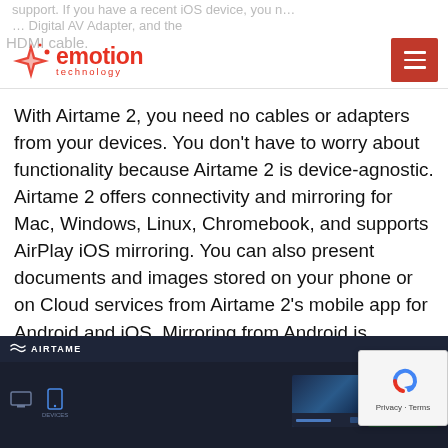emotion technology — logo and navigation header
support. If you have a recent iOS device, you n… Digital AV Adapter, and the HDMI cable.
With Airtame 2, you need no cables or adapters from your devices. You don't have to worry about functionality because Airtame 2 is device-agnostic. Airtame 2 offers connectivity and mirroring for Mac, Windows, Linux, Chromebook, and supports AirPlay iOS mirroring. You can also present documents and images stored on your phone or on Cloud services from Airtame 2's mobile app for Android and iOS. Mirroring from Android is currently under development.
[Figure (screenshot): Airtame application interface screenshot showing dark UI with device icons and thumbnail cards]